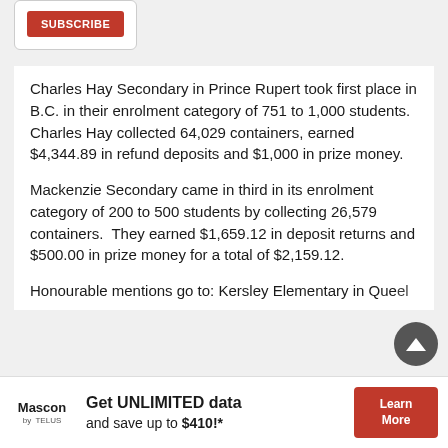[Figure (other): Subscribe button inside a white card]
Charles Hay Secondary in Prince Rupert took first place in B.C. in their enrolment category of 751 to 1,000 students. Charles Hay collected 64,029 containers, earned $4,344.89 in refund deposits and $1,000 in prize money.
Mackenzie Secondary came in third in its enrolment category of 200 to 500 students by collecting 26,579 containers.  They earned $1,659.12 in deposit returns and $500.00 in prize money for a total of $2,159.12.
Honourable mentions go to: Kersley Elementary in Quel...
[Figure (other): Advertisement banner: Mascon by Telus - Get UNLIMITED data and save up to $410!* Learn More]